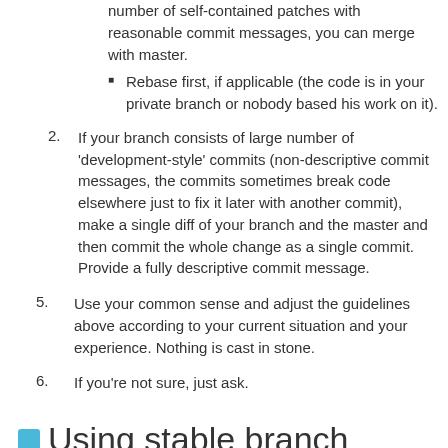number of self-contained patches with reasonable commit messages, you can merge with master.
Rebase first, if applicable (the code is in your private branch or nobody based his work on it).
2. If your branch consists of large number of 'development-style' commits (non-descriptive commit messages, the commits sometimes break code elsewhere just to fix it later with another commit), make a single diff of your branch and the master and then commit the whole change as a single commit. Provide a fully descriptive commit message.
5. Use your common sense and adjust the guidelines above according to your current situation and your experience. Nothing is cast in stone.
6. If you're not sure, just ask.
Using stable branch